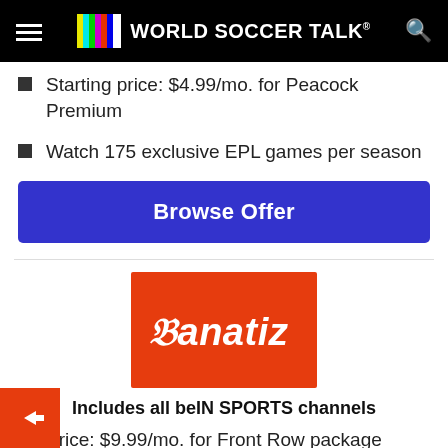World Soccer Talk
Starting price: $4.99/mo. for Peacock Premium
Watch 175 exclusive EPL games per season
Browse Offer
[Figure (logo): Fanatiz logo — white text on orange/red background]
Includes all beIN SPORTS channels
Price: $9.99/mo. for Front Row package